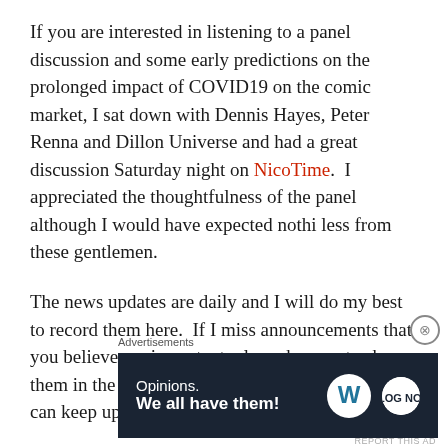If you are interested in listening to a panel discussion and some early predictions on the prolonged impact of COVID19 on the comic market, I sat down with Dennis Hayes, Peter Renna and Dillon Universe and had a great discussion Saturday night on NicoTime.  I appreciated the thoughtfulness of the panel although I would have expected nothi less from these gentlemen.
The news updates are daily and I will do my best to record them here.  If I miss announcements that you believe are important, please be sure to share them in the comments section so that other readers can keep up
[Figure (other): Advertisement banner with dark navy background showing 'Opinions. We all have them!' with WordPress and another logo on the right.]